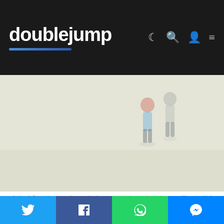doublejump
[Figure (photo): Faded/blurred photo of two children walking, seen from behind, on a light-colored open ground. Partial view at top of page.]
Animal Crossing may be a relaxing game at heart, but players still get a kick out of recreating The Shining...
Perhaps the biggest of Animal Crossing's many positive contributors to mental health, though, is in its social features. We're all missing our social interactions at the moment, with schools and workplaces closed down and
Twitter | Facebook | WhatsApp | Messenger